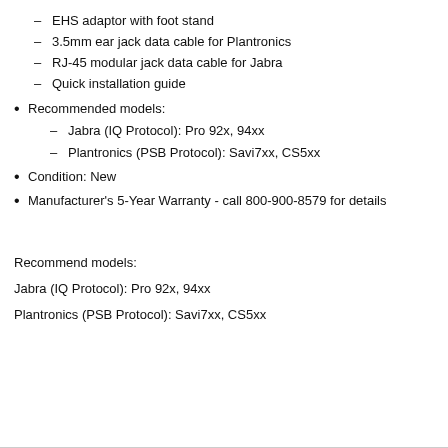– EHS adaptor with foot stand
– 3.5mm ear jack data cable for Plantronics
– RJ-45 modular jack data cable for Jabra
– Quick installation guide
• Recommended models:
– Jabra (IQ Protocol): Pro 92x, 94xx
– Plantronics (PSB Protocol): Savi7xx, CS5xx
• Condition: New
• Manufacturer's 5-Year Warranty - call 800-900-8579 for details
Recommend models:
Jabra (IQ Protocol): Pro 92x, 94xx
Plantronics (PSB Protocol): Savi7xx, CS5xx